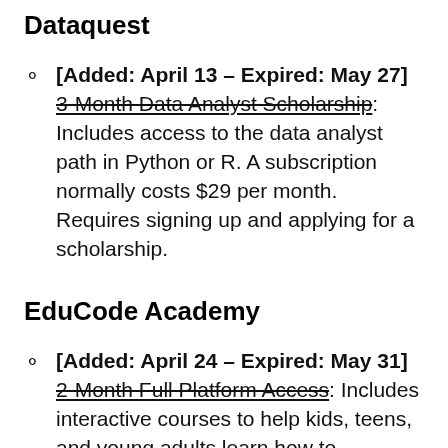Dataquest
[Added: April 13 – Expired: May 27] 3-Month Data Analyst Scholarship: Includes access to the data analyst path in Python or R. A subscription normally costs $29 per month. Requires signing up and applying for a scholarship.
EduCode Academy
[Added: April 24 – Expired: May 31] 2-Month Full Platform Access: Includes interactive courses to help kids, teens, and young adults learn how to program. A